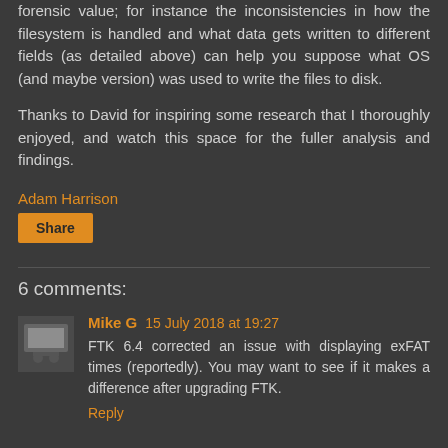forensic value; for instance the inconsistencies in how the filesystem is handled and what data gets written to different fields (as detailed above) can help you suppose what OS (and maybe version) was used to write the files to disk.
Thanks to David for inspiring some research that I thoroughly enjoyed, and watch this space for the fuller analysis and findings.
Adam Harrison
Share
6 comments:
Mike G 15 July 2018 at 19:27
FTK 6.4 corrected an issue with displaying exFAT times (reportedly). You may want to see if it makes a difference after upgrading FTK.
Reply